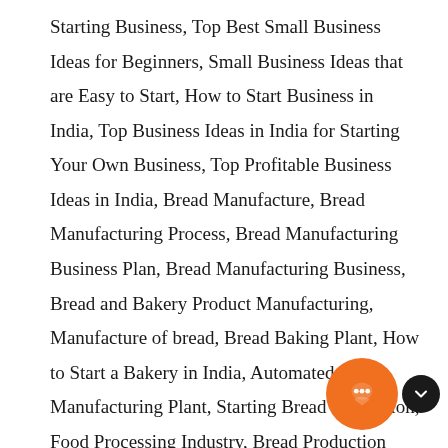Starting Business, Top Best Small Business Ideas for Beginners, Small Business Ideas that are Easy to Start, How to Start Business in India, Top Business Ideas in India for Starting Your Own Business, Top Profitable Business Ideas in India, Bread Manufacture, Bread Manufacturing Process, Bread Manufacturing Business Plan, Bread Manufacturing Business, Bread and Bakery Product Manufacturing, Manufacture of bread, Bread Baking Plant, How to Start a Bakery in India, Automated Bread Manufacturing Plant, Starting Bread Production, Food Processing Industry, Bread Production Plant, Bread Industry, Food Factory, Bread Manufacturing project ideas, Projects on Small Scale Industries, Small scale industries projects ideas, Bread Manufacturing Based Small Scale Industries Projects, Project profile on small scale industries, How to Start Bread Manufacturing Industry in India, Bread Manufacturing Projects, New project profile on Bread Manufacturing industries, Project Report on Bread Manufacturing
[Figure (other): Orange circular chat widget button with a speech bubble icon, and a small black circular arrow button beside it, positioned at the bottom right of the page.]